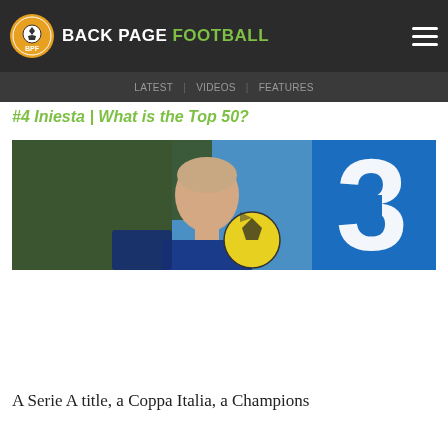BACK PAGE FOOTBALL
#4 Iniesta | What is the Top 50?
[Figure (photo): A footballer holding a yellow ball with a blue jersey showing the number 3, photographed from behind with a blurred background.]
A Serie A title, a Coppa Italia, a Champions